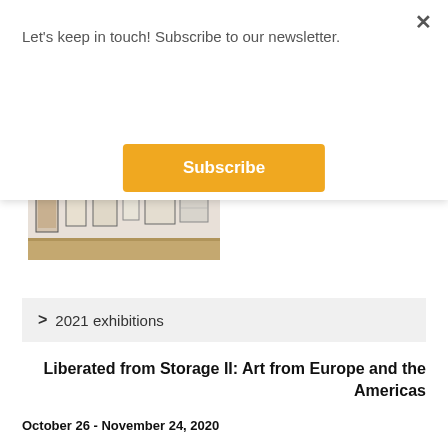Let's keep in touch! Subscribe to our newsletter.
Subscribe
×
[Figure (photo): Gallery wall with several framed artworks hung in a row, white wall, wooden floor visible at bottom]
> 2021 exhibitions
Liberated from Storage II: Art from Europe and the Americas
October 26 - November 24, 2020